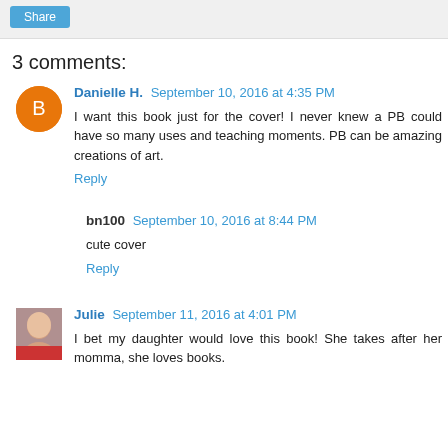Share
3 comments:
Danielle H. September 10, 2016 at 4:35 PM
I want this book just for the cover! I never knew a PB could have so many uses and teaching moments. PB can be amazing creations of art.
Reply
bn100 September 10, 2016 at 8:44 PM
cute cover
Reply
Julie September 11, 2016 at 4:01 PM
I bet my daughter would love this book! She takes after her momma, she loves books.